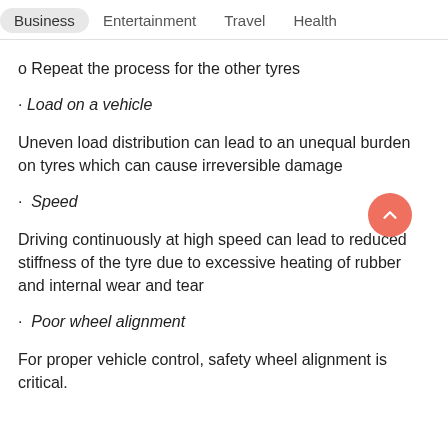Business   Entertainment   Travel   Health
o Repeat the process for the other tyres
· Load on a vehicle
Uneven load distribution can lead to an unequal burden on tyres which can cause irreversible damage
·  Speed
Driving continuously at high speed can lead to reduced stiffness of the tyre due to excessive heating of rubber and internal wear and tear
·  Poor wheel alignment
For proper vehicle control, safety wheel alignment is critical.